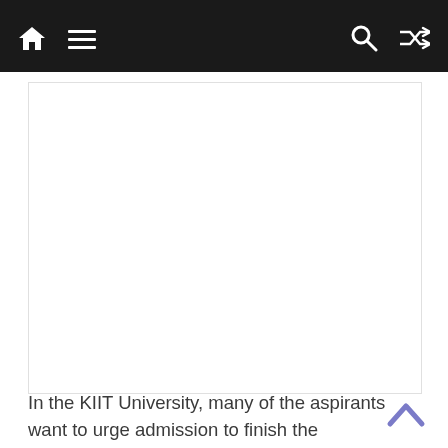Navigation bar with home, menu, search, and shuffle icons
[Figure (other): White content/advertisement area placeholder box]
In the KIIT University, many of the aspirants want to urge admission to finish the